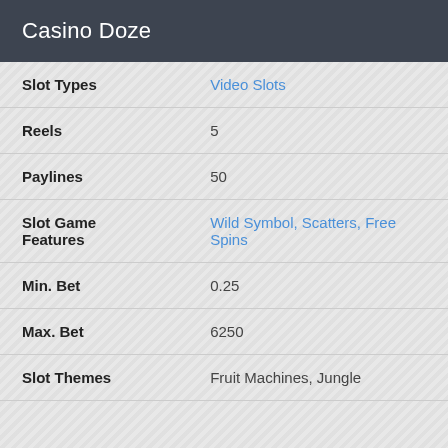Casino Doze
|  |  |
| --- | --- |
| Slot Types | Video Slots |
| Reels | 5 |
| Paylines | 50 |
| Slot Game Features | Wild Symbol, Scatters, Free Spins |
| Min. Bet | 0.25 |
| Max. Bet | 6250 |
| Slot Themes | Fruit Machines, Jungle |